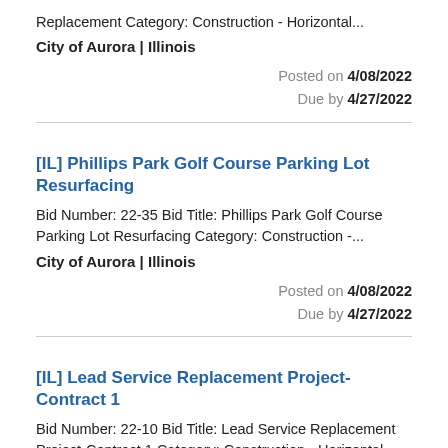Replacement Category: Construction - Horizontal...
City of Aurora | Illinois
Posted on 4/08/2022
Due by 4/27/2022
[IL] Phillips Park Golf Course Parking Lot Resurfacing
Bid Number: 22-35 Bid Title: Phillips Park Golf Course Parking Lot Resurfacing Category: Construction -...
City of Aurora | Illinois
Posted on 4/08/2022
Due by 4/27/2022
[IL] Lead Service Replacement Project-Contract 1
Bid Number: 22-10 Bid Title: Lead Service Replacement Project-Contract 1 Category: Construction - Horizontal Status:...
City of Aurora | Illinois